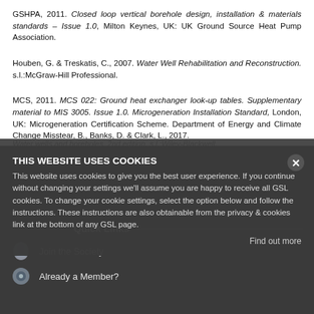GSHPA, 2011. Closed loop vertical borehole design, installation & materials standards – Issue 1.0, Milton Keynes, UK: UK Ground Source Heat Pump Association.
Houben, G. & Treskatis, C., 2007. Water Well Rehabilitation and Reconstruction. s.l.:McGraw-Hill Professional.
MCS, 2011. MCS 022: Ground heat exchanger look-up tables. Supplementary material to MIS 3005. Issue 1.0. Microgeneration Installation Standard, London, UK: Microgeneration Certification Scheme. Department of Energy and Climate Change Misstear, B., Banks, D. & Clark, L., 2017.
Water wells and boreholes. 2nd edition. s.l.:Wiley-Blackwell.
Pyne, RC, 1994. Groundwater recharge and wells: a guide to aquifer storage
THIS WEBSITE USES COOKIES
This website uses cookies to give you the best user experience. If you continue without changing your settings we'll assume you are happy to receive all GSL cookies. To change your cookie settings, select the option below and follow the instructions. These instructions are also obtainable from the privacy & cookies link at the bottom of any GSL page.
Find out more
Quick Links
Join the Society
Already a Member?